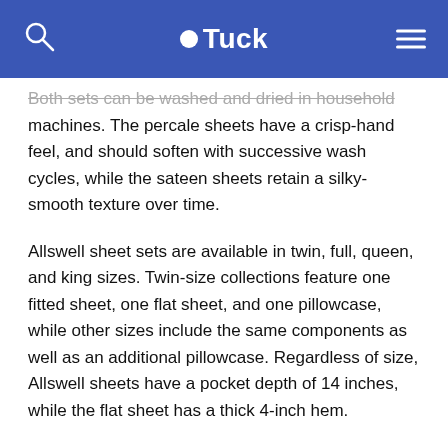Tuck
Both sets can be washed and dried in household machines. The percale sheets have a crisp-hand feel, and should soften with successive wash cycles, while the sateen sheets retain a silky-smooth texture over time.
Allswell sheet sets are available in twin, full, queen, and king sizes. Twin-size collections feature one fitted sheet, one flat sheet, and one pillowcase, while other sizes include the same components as well as an additional pillowcase. Regardless of size, Allswell sheets have a pocket depth of 14 inches, while the flat sheet has a thick 4-inch hem.
Compared to other organic sheet sets, Allswell’s collections have below-average price-points. The company offers free ground shipping for sheet sets to all 50 states and also accepts returns on sheet sets within